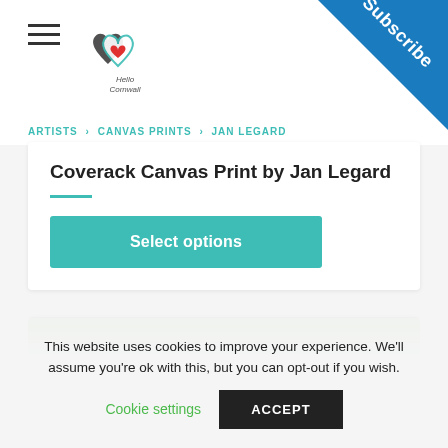Hello Cornwall header with hamburger menu and logo
[Figure (logo): Hello Cornwall logo — two hearts with text 'Hello Cornwall']
[Figure (other): Blue Subscribe ribbon in top-right corner]
ARTISTS > CANVAS PRINTS > JAN LEGARD
Coverack Canvas Print by Jan Legard
[Figure (other): Select options teal button]
[Figure (photo): Partial product image showing green landscape/countryside]
This website uses cookies to improve your experience. We'll assume you're ok with this, but you can opt-out if you wish.
Cookie settings   ACCEPT